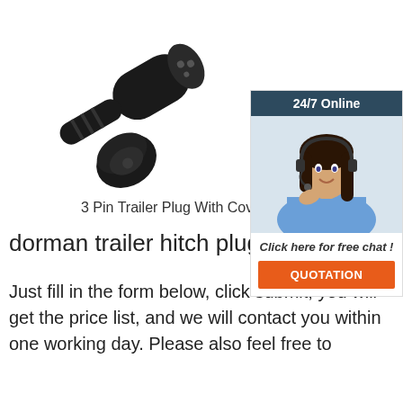[Figure (photo): Black 3-pin trailer plug with protective cover, shown at an angle on white background]
[Figure (photo): 24/7 Online support widget showing a smiling woman with headset, a 'Click here for free chat!' message and an orange QUOTATION button]
3 Pin Trailer Plug With Cover
dorman trailer hitch plug cheap
Just fill in the form below, click submit, you will get the price list, and we will contact you within one working day. Please also feel free to